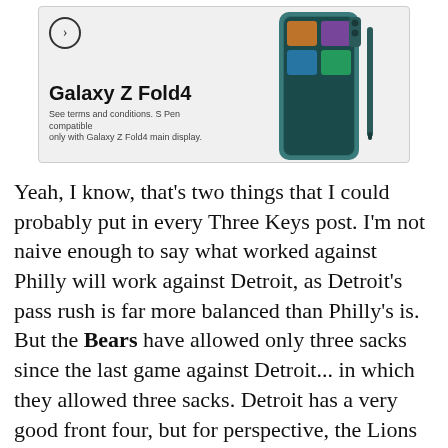[Figure (screenshot): Advertisement for Samsung Galaxy Z Fold4. Light gray background with a navigation arrow circle icon in top-left. Bold text reads 'Galaxy Z Fold4' with smaller text 'See terms and conditions. S Pen compatible only with Galaxy Z Fold4 main display.' A teal-colored folding phone with S Pen is shown on the right side.]
Yeah, I know, that's two things that I could probably put in every Three Keys post. I'm not naive enough to say what worked against Philly will work against Detroit, as Detroit's pass rush is far more balanced than Philly's is. But the Bears have allowed only three sacks since the last game against Detroit... in which they allowed three sacks. Detroit has a very good front four, but for perspective, the Lions have 24 sacks. Philly had 22 and Minnesota also had 24, so these aren't exactly horsebleep pass rush units the Bears have been dealing with two of the last three weeks. Jay's gotten